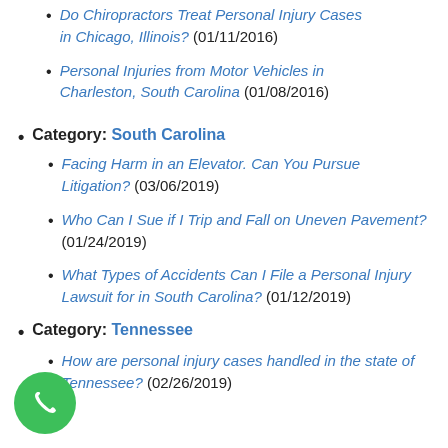Do Chiropractors Treat Personal Injury Cases in Chicago, Illinois? (01/11/2016)
Personal Injuries from Motor Vehicles in Charleston, South Carolina (01/08/2016)
Category: South Carolina
Facing Harm in an Elevator. Can You Pursue Litigation? (03/06/2019)
Who Can I Sue if I Trip and Fall on Uneven Pavement? (01/24/2019)
What Types of Accidents Can I File a Personal Injury Lawsuit for in South Carolina? (01/12/2019)
Category: Tennessee
How are personal injury cases handled in the state of Tennessee? (02/26/2019)
[Figure (illustration): Green circular phone/call button icon]